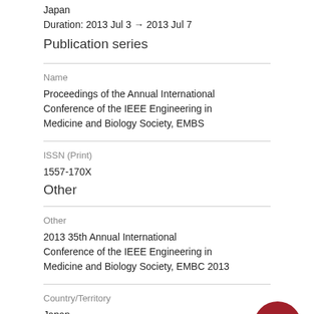Japan
Duration: 2013 Jul 3 → 2013 Jul 7
Publication series
Name
Proceedings of the Annual International Conference of the IEEE Engineering in Medicine and Biology Society, EMBS
ISSN (Print)
1557-170X
Other
Other
2013 35th Annual International Conference of the IEEE Engineering in Medicine and Biology Society, EMBC 2013
Country/Territory
Japan
City